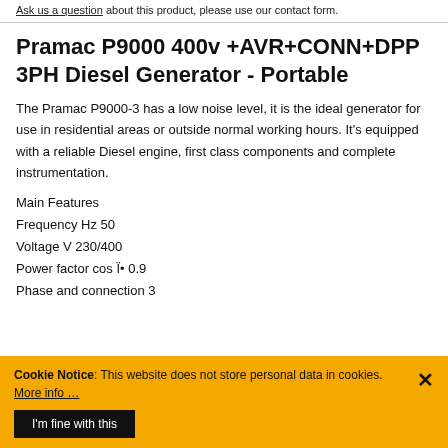Ask us a question about this product, please use our contact form.
Pramac P9000 400v +AVR+CONN+DPP 3PH Diesel Generator - Portable
The Pramac P9000-3 has a low noise level, it is the ideal generator for use in residential areas or outside normal working hours. It's equipped with a reliable Diesel engine, first class components and complete instrumentation.
Main Features
Frequency Hz 50
Voltage V 230/400
Power factor cos φ 0.9
Phase and connection 3
Cookie Notice: This website does not store personal data in cookies. More info …
I'm fine with this